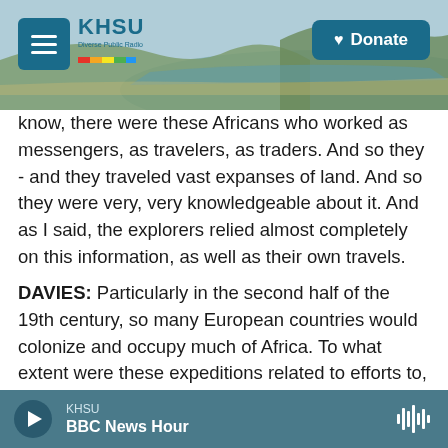KHSU | Diverse Public Radio | Donate
know, there were these Africans who worked as messengers, as travelers, as traders. And so they - and they traveled vast expanses of land. And so they were very, very knowledgeable about it. And as I said, the explorers relied almost completely on this information, as well as their own travels.
DAVIES: Particularly in the second half of the 19th century, so many European countries would colonize and occupy much of Africa. To what extent were these expeditions related to efforts to, you know, control or colonize parts of the continent?
KHSU | BBC News Hour